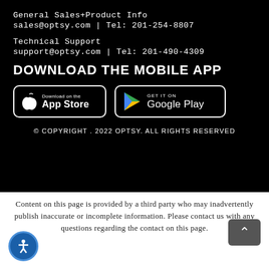General Sales+Product Info
sales@optsy.com | Tel: 201-254-8807
Technical Support
support@optsy.com | Tel: 201-490-4309
DOWNLOAD THE MOBILE APP
[Figure (logo): Download on the App Store button with Apple logo]
[Figure (logo): Get it on Google Play button with Google Play triangle logo]
© COPYRIGHT . 2022 OPTSY. ALL RIGHTS RESERVED
Content on this page is provided by a third party who may inadvertently publish inaccurate or incomplete information. Please contact us with any questions regarding the contact on this page.